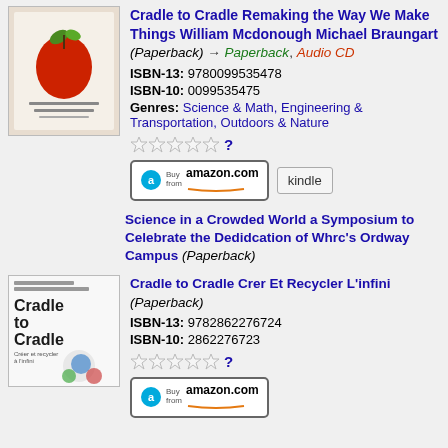[Figure (photo): Book cover with cherry/apple illustration on light background]
Cradle to Cradle Remaking the Way We Make Things William Mcdonough Michael Braungart (Paperback) → Paperback, Audio CD
ISBN-13: 9780099535478
ISBN-10: 0099535475
Genres: Science & Math, Engineering & Transportation, Outdoors & Nature
[Figure (other): Star rating (empty stars) with question mark]
[Figure (other): Buy from amazon.com button and Kindle button]
Science in a Crowded World a Symposium to Celebrate the Dedidcation of Whrc's Ordway Campus (Paperback)
[Figure (photo): Cradle to Cradle book cover - Créer et recycler à l'infini]
Cradle to Cradle Crer Et Recycler L'infini (Paperback)
ISBN-13: 9782862276724
ISBN-10: 2862276723
[Figure (other): Star rating (empty stars) with question mark]
[Figure (other): Buy from amazon.com button]